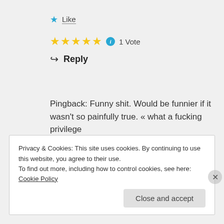★ Like
★★★★★ ℹ 1 Vote
↩ Reply
Pingback: Funny shit. Would be funnier if it wasn't so painfully true. « what a fucking privilege
Privacy & Cookies: This site uses cookies. By continuing to use this website, you agree to their use.
To find out more, including how to control cookies, see here: Cookie Policy
Close and accept